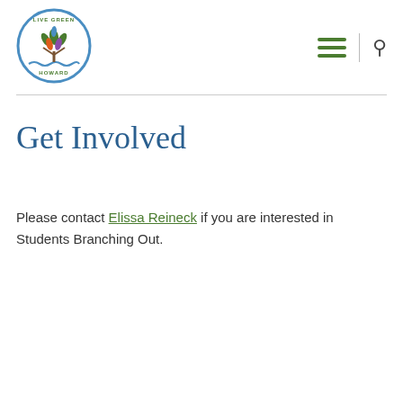[Figure (logo): Live Green Howard circular logo with a tree and colorful leaves, blue circular border with text]
Get Involved
Please contact Elissa Reineck if you are interested in Students Branching Out.